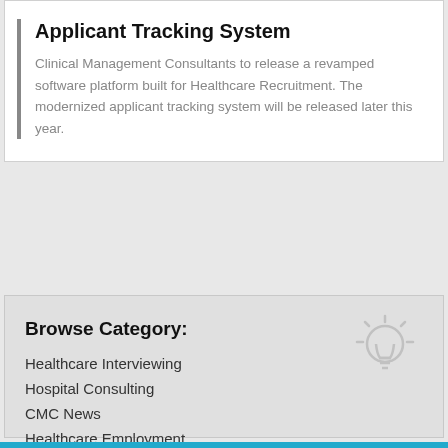Applicant Tracking System
Clinical Management Consultants to release a revamped software platform built for Healthcare Recruitment. The modernized applicant tracking system will be released later this year.
Browse Category:
Healthcare Interviewing
Hospital Consulting
CMC News
Healthcare Employment
Interim Healthcare Management
More Insights →